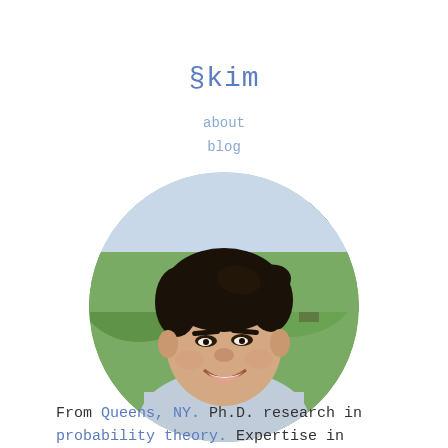§kim
about
blog
[Figure (photo): Circular portrait photo of a young Asian man smiling outdoors, with green trees in background, wearing a light blue/grey t-shirt.]
From Queens, NY. Ph.D. research in probability theory. Expertise in